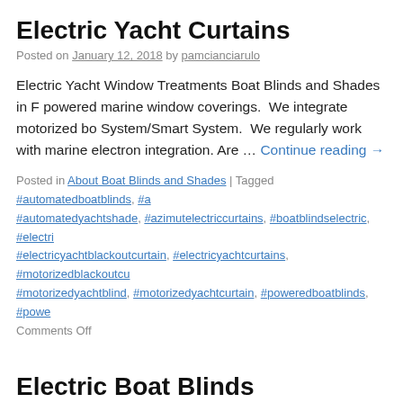Electric Yacht Curtains
Posted on January 12, 2018 by pamcianciarulo
Electric Yacht Window Treatments Boat Blinds and Shades in F powered marine window coverings.  We integrate motorized bo System/Smart System.  We regularly work with marine electron integration. Are … Continue reading →
Posted in About Boat Blinds and Shades | Tagged #automatedboatblinds, #a #automatedyachtshade, #azimutelectriccurtains, #boatblindselectric, #electri #electricyachtblackoutcurtain, #electricyachtcurtains, #motorizedblackoutcu #motorizedyachtblind, #motorizedyachtcurtain, #poweredboatblinds, #powe Comments Off
Electric Boat Blinds
Posted on November 14, 2017 by pamcianciarulo
Motorized Boat Blinds We have been really busy fabricating an Horizontal Shades, also known as Silhouettes, for our yachts lat light filtering or a room darkening fabric.  Take … Continue rea